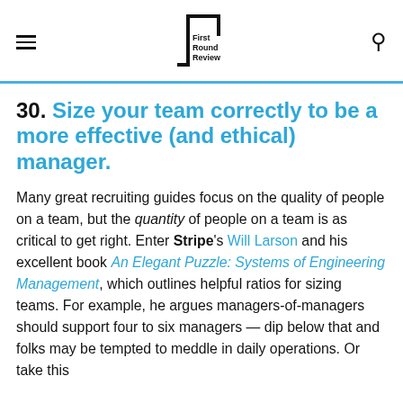First Round Review
30. Size your team correctly to be a more effective (and ethical) manager.
Many great recruiting guides focus on the quality of people on a team, but the quantity of people on a team is as critical to get right. Enter Stripe's Will Larson and his excellent book An Elegant Puzzle: Systems of Engineering Management, which outlines helpful ratios for sizing teams. For example, he argues managers-of-managers should support four to six managers — dip below that and folks may be tempted to meddle in daily operations. Or take this